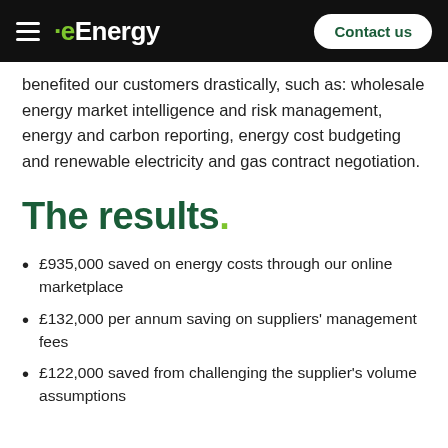eEnergy | Contact us
benefited our customers drastically, such as: wholesale energy market intelligence and risk management, energy and carbon reporting, energy cost budgeting and renewable electricity and gas contract negotiation.
The results.
£935,000 saved on energy costs through our online marketplace
£132,000 per annum saving on suppliers' management fees
£122,000 saved from challenging the supplier's volume assumptions